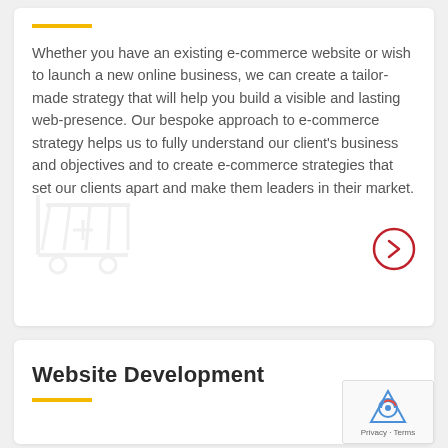Whether you have an existing e-commerce website or wish to launch a new online business, we can create a tailor-made strategy that will help you build a visible and lasting web-presence. Our bespoke approach to e-commerce strategy helps us to fully understand our client's business and objectives and to create e-commerce strategies that set our clients apart and make them leaders in their market.
[Figure (illustration): Faint shopping cart icon watermark in bottom left of card]
[Figure (illustration): Red circular arrow button pointing right]
Website Development
[Figure (logo): Google reCAPTCHA badge with robot icon and Privacy - Terms text]